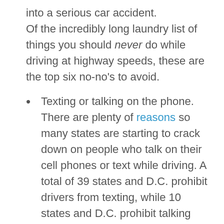into a serious car accident. Of the incredibly long laundry list of things you should never do while driving at highway speeds, these are the top six no-no’s to avoid.
Texting or talking on the phone. There are plenty of reasons so many states are starting to crack down on people who talk on their cell phones or text while driving. A total of 39 states and D.C. prohibit drivers from texting, while 10 states and D.C. prohibit talking altogether without a hands-free device. Some studies have shown that doing